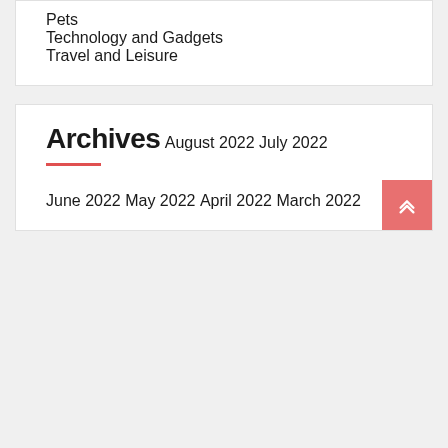Pets
Technology and Gadgets
Travel and Leisure
Archives
August 2022
July 2022
June 2022
May 2022
April 2022
March 2022